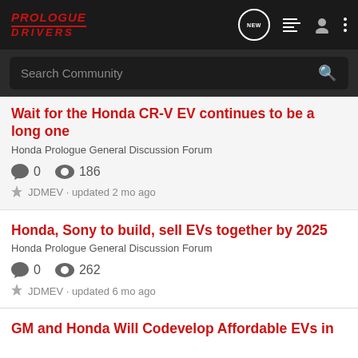PROLOGUE DRIVERS
Search Community
Wait for the Honda CR-V EV continues to be a long one
Honda Prologue General Discussion Forum
0  186  JDMEV · updated 2 mo ago
Honda, Sony to build, sell EVs together by 2025
Honda Prologue General Discussion Forum
0  262  JDMEV · updated 6 mo ago
GM and Honda Will Codevelop Affordable EVs in